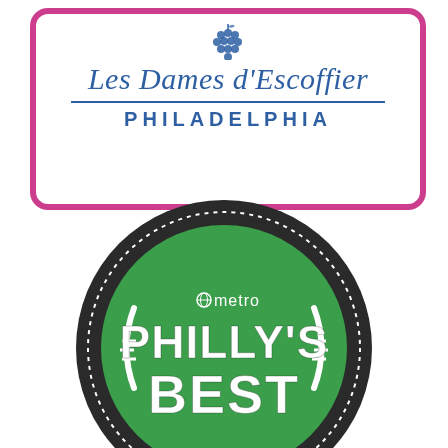[Figure (logo): Les Dames d'Escoffier Philadelphia logo: blue italic text with grape cluster icon, blue horizontal rule, and PHILADELPHIA in bold spaced caps, all inside a pink rounded-rectangle border]
[Figure (logo): Metro Philly's Best badge: dark circular badge with dotted white inner ring, green inner circle, white arc brackets, 'metro' with globe icon, and 'PHILLY'S BEST' in large white bold text]